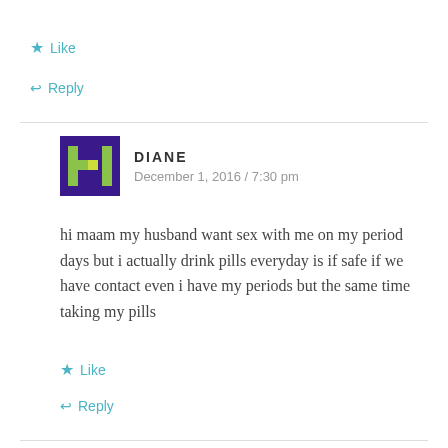★ Like
↩ Reply
DIANE
December 1, 2016 / 7:30 pm
hi maam my husband want sex with me on my period days but i actually drink pills everyday is if safe if we have contact even i have my periods but the same time taking my pills
★ Like
↩ Reply